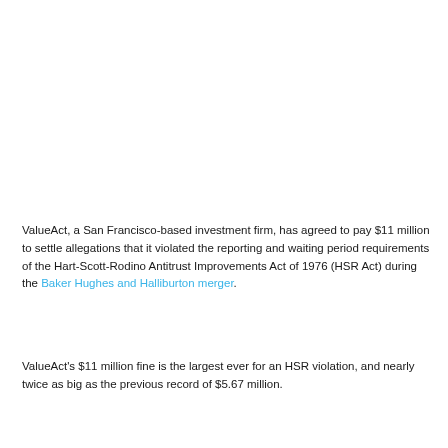ValueAct, a San Francisco-based investment firm, has agreed to pay $11 million to settle allegations that it violated the reporting and waiting period requirements of the Hart-Scott-Rodino Antitrust Improvements Act of 1976 (HSR Act) during the Baker Hughes and Halliburton merger.
ValueAct's $11 million fine is the largest ever for an HSR violation, and nearly twice as big as the previous record of $5.67 million.